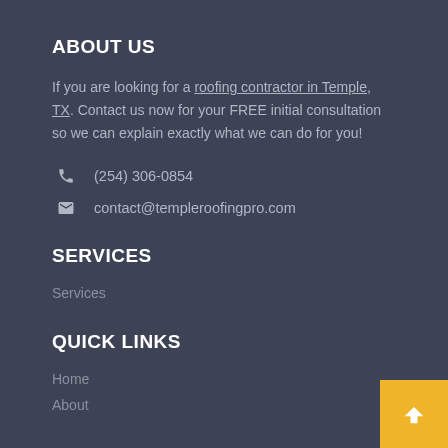ABOUT US
If you are looking for a roofing contractor in Temple, TX. Contact us now for your FREE initial consultation so we can explain exactly what we can do for you!
(254) 306-0854
contact@templeroofingpro.com
SERVICES
Services
QUICK LINKS
Home
About